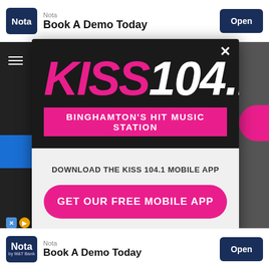[Figure (screenshot): Top advertisement banner showing Nota app ad with 'Book A Demo Today' and Open button]
[Figure (logo): KISS 104.1 radio station logo with pink KISS text and white 104.1, with pink banner reading BINGHAMTON'S HIT MUSIC STATION]
DOWNLOAD THE KISS 104.1 MOBILE APP
GET OUR FREE MOBILE APP
Also listen on: amazon alexa
[Figure (screenshot): Bottom advertisement banner showing Nota app ad with 'Book A Demo Today' and Open button]